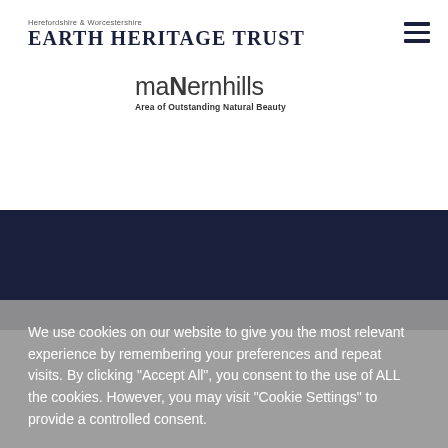[Figure (logo): Herefordshire & Worcestershire Earth Heritage Trust logo with text 'Herefordshire & Worcestershire' above 'EARTH HERITAGE TRUST']
[Figure (logo): Malvern Hills Area of Outstanding Natural Beauty logo with stylized 'malvernhills' text and subtitle 'Area of Outstanding Natural Beauty']
We use cookies on our website to give you the most relevant experience by remembering your preferences and repeat visits. By clicking "Accept All", you consent to the use of ALL the cookies. However, you may visit "Cookie Settings" to provide a controlled consent.
Cookie Settings
Accept All